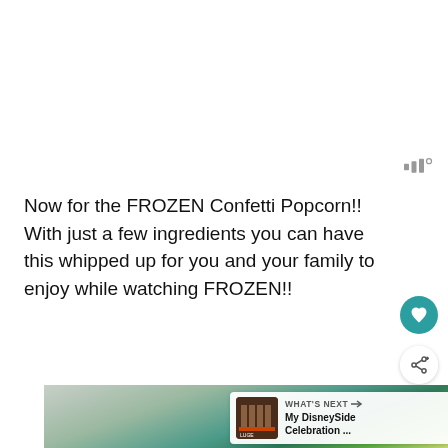[Figure (other): Gray toolbar icon with three vertical bars and a small circle, resembling a menu/settings icon]
Now for the FROZEN Confetti Popcorn!!  With just a few ingredients you can have this whipped up for you and your family to enjoy while watching FROZEN!!
[Figure (other): Teal circular heart/favorite button]
[Figure (other): White circular share button with share icon]
[Figure (photo): Close-up photo of colorful FROZEN themed confetti popcorn with blue, green and yellow coated popcorn on a gray surface]
[Figure (other): "WHAT'S NEXT" bar showing My DisneySide Celebration ... with a thumbnail image]